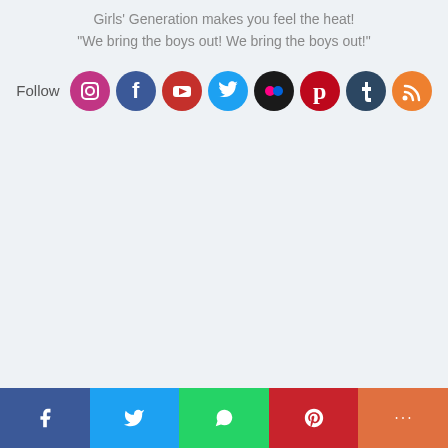Girls' Generation makes you feel the heat! "We bring the boys out! We bring the boys out!"
[Figure (infographic): Social media follow icons row: Instagram, Facebook, YouTube, Twitter, Flickr, Pinterest, Tumblr, RSS feed]
Social sharing bar with Facebook, Twitter, WhatsApp, Pinterest, More buttons